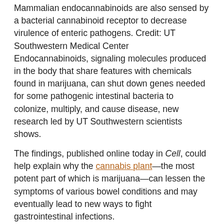Mammalian endocannabinoids are also sensed by a bacterial cannabinoid receptor to decrease virulence of enteric pathogens. Credit: UT Southwestern Medical Center
Endocannabinoids, signaling molecules produced in the body that share features with chemicals found in marijuana, can shut down genes needed for some pathogenic intestinal bacteria to colonize, multiply, and cause disease, new research led by UT Southwestern scientists shows.
The findings, published online today in Cell, could help explain why the cannabis plant—the most potent part of which is marijuana—can lessen the symptoms of various bowel conditions and may eventually lead to new ways to fight gastrointestinal infections.
Discovered in 1992, endocannabinoids are lipid-based…
Continue reading at MedicalExpress.com